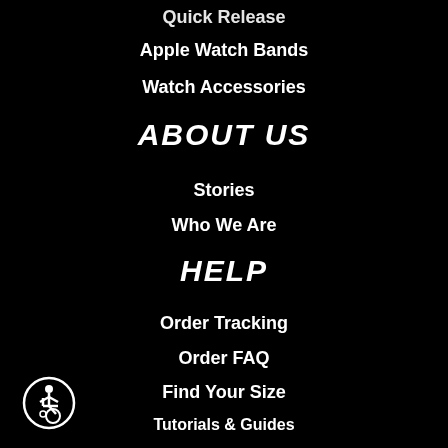Quick Release
Apple Watch Bands
Watch Accessories
ABOUT US
Stories
Who We Are
HELP
Order Tracking
Order FAQ
Find Your Size
Tutorials & Guides
MY ACCOUNT
Account
Wishlist
[Figure (illustration): Wheelchair accessibility icon — white circle outline with a stylized figure in a wheelchair]